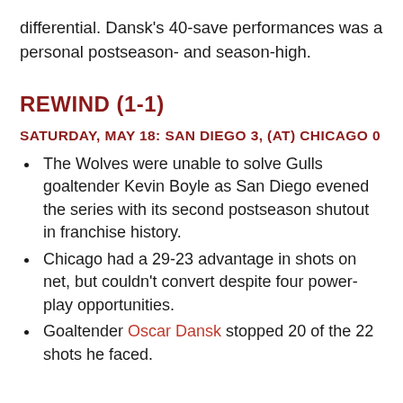differential. Dansk's 40-save performances was a personal postseason- and season-high.
REWIND (1-1)
SATURDAY, MAY 18: SAN DIEGO 3, (at) CHICAGO 0
The Wolves were unable to solve Gulls goaltender Kevin Boyle as San Diego evened the series with its second postseason shutout in franchise history.
Chicago had a 29-23 advantage in shots on net, but couldn't convert despite four power-play opportunities.
Goaltender Oscar Dansk stopped 20 of the 22 shots he faced.